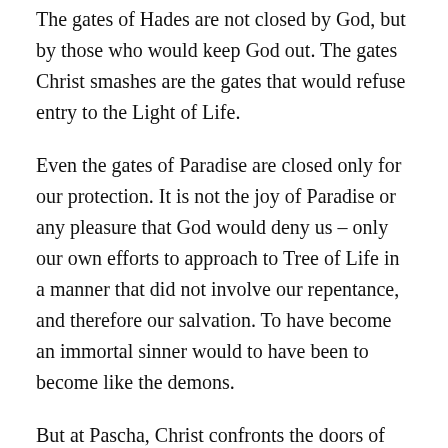The gates of Hades are not closed by God, but by those who would keep God out. The gates Christ smashes are the gates that would refuse entry to the Light of Life.
Even the gates of Paradise are closed only for our protection. It is not the joy of Paradise or any pleasure that God would deny us – only our own efforts to approach to Tree of Life in a manner that did not involve our repentance, and therefore our salvation. To have become an immortal sinner would to have been to become like the demons.
But at Pascha, Christ confronts the doors of fear. Interestingly, he does not smash these doors. He simply appears within. He does not ask His disciples to first overcome their fears so that He may come to them. He comes to them and their fears are